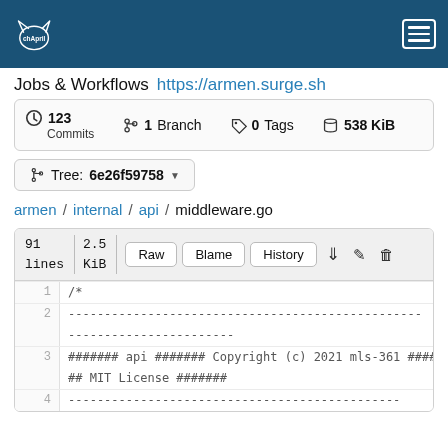chApril — hamburger menu nav bar
Jobs & Workflows https://armen.surge.sh
123 Commits | 1 Branch | 0 Tags | 538 KiB
Tree: 6e26f59758
armen / internal / api / middleware.go
91 lines | 2.5 KiB | Raw | Blame | History
1  /*
2  ----...
3  ####### api ####### Copyright (c) 2021 mls-361 ##### ## MIT License #######
4  ----...